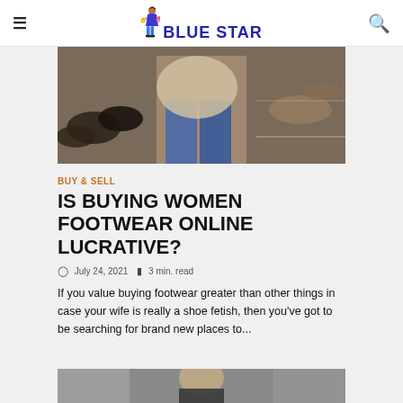BLUE STAR
[Figure (photo): A person browsing shoes in a shoe store, viewed from behind, with various footwear on display.]
BUY & SELL
IS BUYING WOMEN FOOTWEAR ONLINE LUCRATIVE?
July 24, 2021   3 min. read
If you value buying footwear greater than other things in case your wife is really a shoe fetish, then you've got to be searching for brand new places to...
[Figure (photo): A man at a barber or salon, viewed from behind, with a blurred background.]